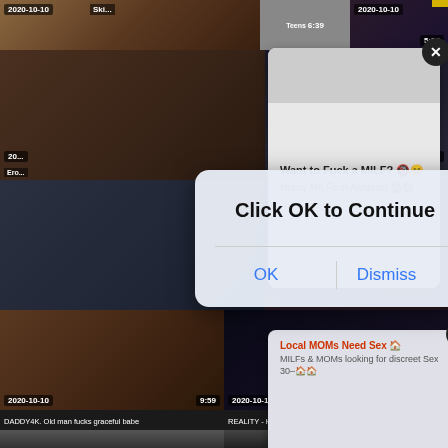[Figure (screenshot): Adult video website screenshot showing multiple video thumbnails with timestamps (2020-10-10), durations, and category labels. Background shows explicit content thumbnails.]
[Figure (screenshot): Ad popup 1: Want to Fuck a MILF? Horny MILFs in Ashburn, with close X button]
[Figure (screenshot): Ad popup 2: Local MOMs Need Sex - MILFs & MOMs looking for discreet Sex 30-, with close X button]
[Figure (screenshot): iOS-style dialog box with text 'Click OK to Continue' and two buttons: OK and Dismiss]
2020-10-10
Teens 6:39
2020-10-10
5:34
Want to Fuck a MILF? Horny MILFs in Ashburn
Local MOMs Need Sex - MILFs & MOMs looking for discreet Sex 30-
Click OK to Continue
OK
Dismiss
2020-10-10
9:59
DADDY4K. Old man fucks graceful babe
2020-10-10
12:45
REALITY - He fucks me and makes me